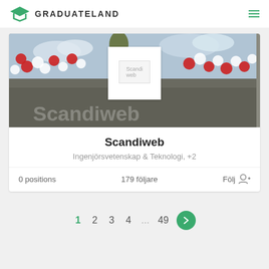GRADUATELAND
[Figure (photo): Banner photo of a crowd of people holding red and white balloons outdoors, with a Scandiweb company logo overlay in the center]
Scandiweb
Ingenjörsvetenskap & Teknologi, +2
0 positions   179 följare   Följ
1  2  3  4  ...  49  >